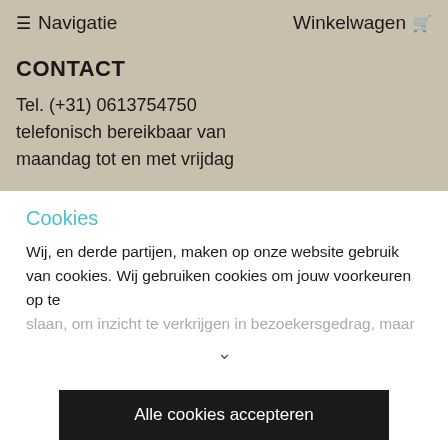≡ Navigatie    Winkelwagen 🛒
CONTACT
Tel. (+31) 0613754750
telefonisch bereikbaar van
maandag tot en met vrijdag
Cookies
Wij, en derde partijen, maken op onze website gebruik van cookies. Wij gebruiken cookies om jouw voorkeuren op te slaan, om inzicht te verkrijgen in bezoekersgedrag, maar
∨
Alle cookies accepteren
Cookievoorkeuren